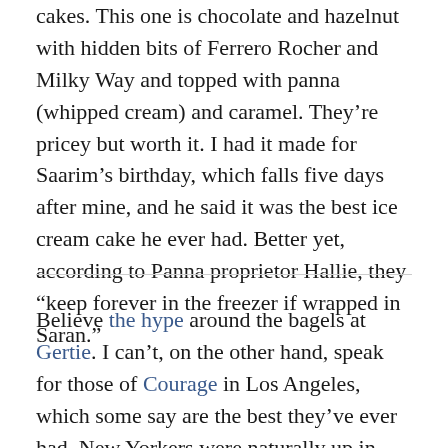cakes. This one is chocolate and hazelnut with hidden bits of Ferrero Rocher and Milky Way and topped with panna (whipped cream) and caramel. They’re pricey but worth it. I had it made for Saarim’s birthday, which falls five days after mine, and he said it was the best ice cream cake he ever had. Better yet, according to Panna proprietor Hallie, they “keep forever in the freezer if wrapped in Saran.”
Believe the hype around the bagels at Gertie. I can’t, on the other hand, speak for those of Courage in Los Angeles, which some say are the best they’ve ever had. New Yorkers were naturally up in arms over Tejal Rao’s controversial headline in the Times last week, but I’m with Dane Gervin on this one, “that bagel taste can